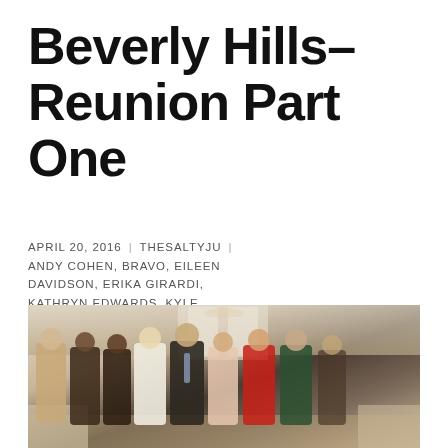Beverly Hills– Reunion Part One
APRIL 20, 2016 | THESALTYJU | ANDY COHEN, BRAVO, EILEEN DAVIDSON, ERIKA GIRARDI, KATHRYN EDWARDS, KYLE RICHARDS, LISA RINNA, LISA VANDERPUMP, REAL HOUSEWIVES, REAL HOUSEWIVES OF BEVERLY HILLS, REALITY SHOW, RHOBH, YOLANDA FOSTER | 1 COMMENT
[Figure (photo): Group photo of Real Housewives of Beverly Hills cast members standing together in formal attire in an elegant room]